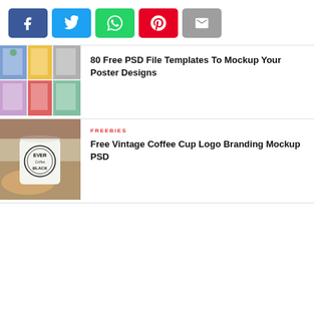[Figure (infographic): Social share buttons row: Facebook (blue), Twitter (light blue), WhatsApp (green), Pinterest (red), Email (grey)]
[Figure (photo): Thumbnail image showing a collage of poster mockups in frames with colorful backgrounds]
80 Free PSD File Templates To Mockup Your Poster Designs
[Figure (photo): Thumbnail image showing a hand holding a white vintage coffee cup with logo branding on a wooden table]
FREEBIES
Free Vintage Coffee Cup Logo Branding Mockup PSD